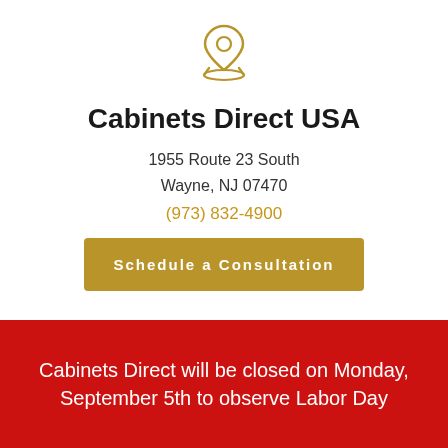[Figure (illustration): Gold/amber location pin icon with map base]
Cabinets Direct USA
1955 Route 23 South
Wayne, NJ 07470
(973) 832-4900
Schedule a Consultation
More Information
Cabinets Direct will be closed on Monday, September 5th to observe Labor Day